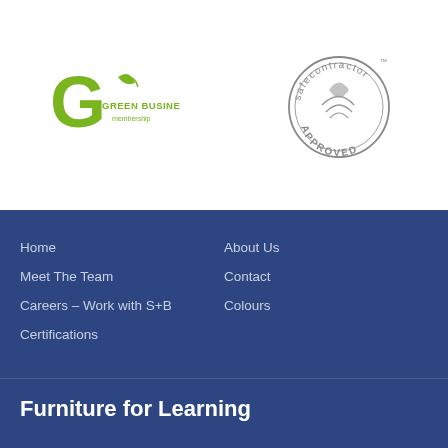[Figure (logo): Green Business Membership logo — stylized green G with leaf and text GREEN BUSINESS membership]
[Figure (logo): Safecontractor Approved circular badge with TM mark]
Home
About Us
Meet The Team
Contact
Careers – Work with S+B
Colours
Certifications
Furniture for Learning